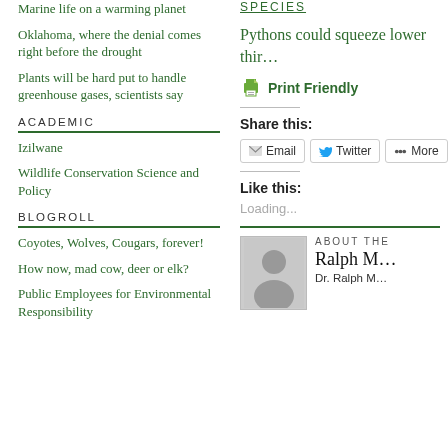Marine life on a warming planet
Oklahoma, where the denial comes right before the drought
Plants will be hard put to handle greenhouse gases, scientists say
ACADEMIC
Izilwane
Wildlife Conservation Science and Policy
BLOGROLL
Coyotes, Wolves, Cougars, forever!
How now, mad cow, deer or elk?
Public Employees for Environmental Responsibility
SPECIES
Pythons could squeeze lower thir…
[Figure (other): Print Friendly icon with printer graphic]
Share this:
Email  Twitter  More
Like this:
Loading...
ABOUT THE
Ralph M…
Dr. Ralph M…